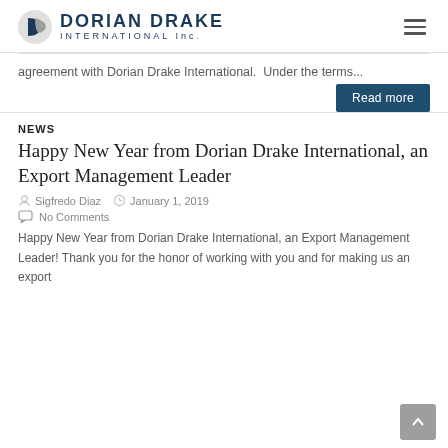[Figure (logo): Dorian Drake International Inc. logo with circular D icon and company name]
agreement with Dorian Drake International.  Under the terms...
Read more
NEWS
Happy New Year from Dorian Drake International, an Export Management Leader
Sigfredo Diaz   January 1, 2019
No Comments
Happy New Year from Dorian Drake International, an Export Management Leader! Thank you for the honor of working with you and for making us an export